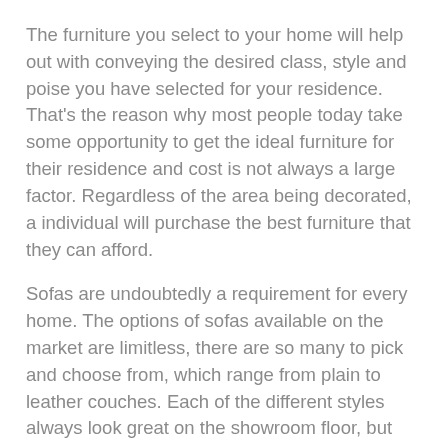The furniture you select to your home will help out with conveying the desired class, style and poise you have selected for your residence. That's the reason why most people today take some opportunity to get the ideal furniture for their residence and cost is not always a large factor. Regardless of the area being decorated, a individual will purchase the best furniture that they can afford.
Sofas are undoubtedly a requirement for every home. The options of sofas available on the market are limitless, there are so many to pick and choose from, which range from plain to leather couches. Each of the different styles always look great on the showroom floor, but you can never be absolutely positive whether it will fit on your home the way you need it. That's the point where the benefits of sectional sofas come in.